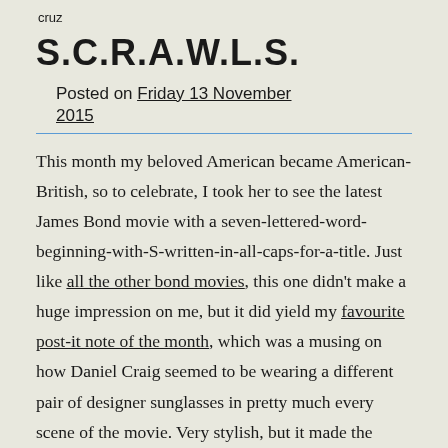cruz
S.C.R.A.W.L.S.
Posted on Friday 13 November 2015
This month my beloved American became American-British, so to celebrate, I took her to see the latest James Bond movie with a seven-lettered-word-beginning-with-S-written-in-all-caps-for-a-title. Just like all the other bond movies, this one didn't make a huge impression on me, but it did yield my favourite post-it note of the month, which was a musing on how Daniel Craig seemed to be wearing a different pair of designer sunglasses in pretty much every scene of the movie. Very stylish, but it made the movie feel a little like a Sunglasses Hut commercial.